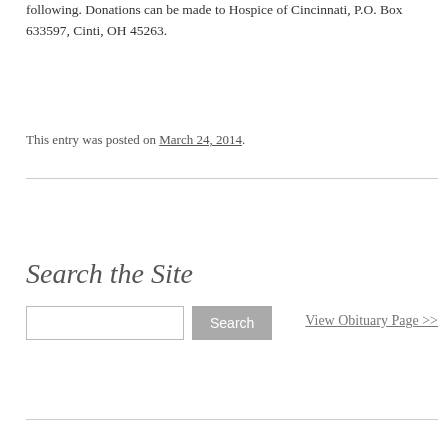following. Donations can be made to Hospice of Cincinnati, P.O. Box 633597, Cinti, OH 45263.
This entry was posted on March 24, 2014.
Search the Site
View Obituary Page >>